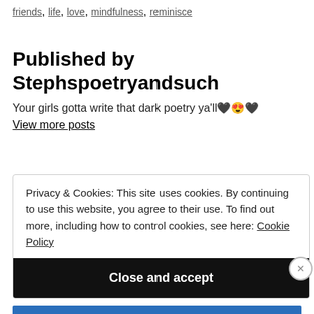friends, life, love, mindfulness, reminisce
Published by Stephspoetryandsuch
Your girls gotta write that dark poetry ya'll🖤😍🖤
View more posts
Privacy & Cookies: This site uses cookies. By continuing to use this website, you agree to their use. To find out more, including how to control cookies, see here: Cookie Policy
Close and accept